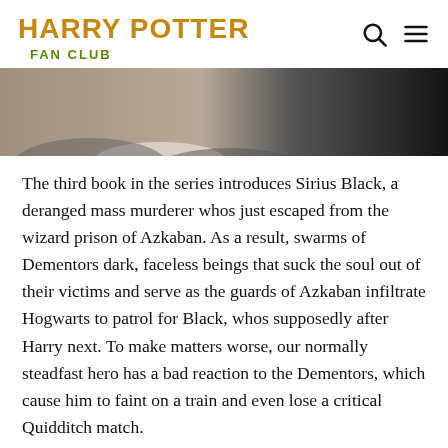HARRY POTTER FAN CLUB
[Figure (photo): Partial photo showing the lower face and neck of a person wearing a white collar and dark jacket, with a dark background on the right side.]
The third book in the series introduces Sirius Black, a deranged mass murderer whos just escaped from the wizard prison of Azkaban. As a result, swarms of Dementors dark, faceless beings that suck the soul out of their victims and serve as the guards of Azkaban infiltrate Hogwarts to patrol for Black, whos supposedly after Harry next. To make matters worse, our normally steadfast hero has a bad reaction to the Dementors, which cause him to faint on a train and even lose a critical Quidditch match.
Again, though, its not all doom and gloom. Harry Potter and the Prisoner of Azkaban also features Professor Remus Lupin, the new Defense Against the Dark